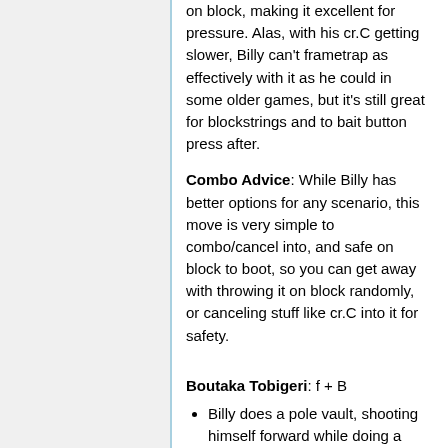on block, making it excellent for pressure. Alas, with his cr.C getting slower, Billy can't frametrap as effectively with it as he could in some older games, but it's still great for blockstrings and to bait button press after.
Combo Advice: While Billy has better options for any scenario, this move is very simple to combo/cancel into, and safe on block to boot, so you can get away with throwing it on block randomly, or canceling stuff like cr.C into it for safety.
Boutaka Tobigeri: f + B
Billy does a pole vault, shooting himself forward while doing a flying kick. Slow and not very safe unless